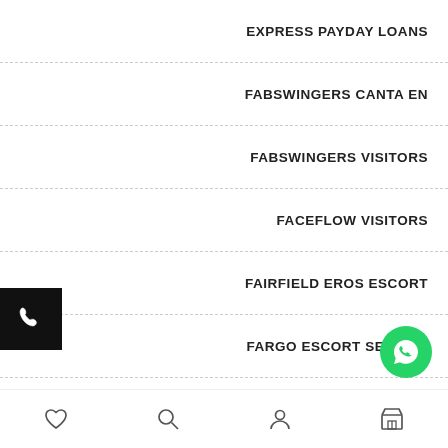EXPRESS PAYDAY LOANS
FABSWINGERS CANTA EN
FABSWINGERS VISITORS
FACEFLOW VISITORS
FAIRFIELD EROS ESCORT
FARGO ESCORT SERVICE
FARMERS DATING REVIEW
FARMERS DATING SITE VISITORS
[Figure (other): Phone call button - black square with white phone icon on left edge]
[Figure (other): WhatsApp floating action button - green circle with white WhatsApp icon]
[Figure (other): Bottom navigation bar with heart/wishlist, search, account, and store icons]